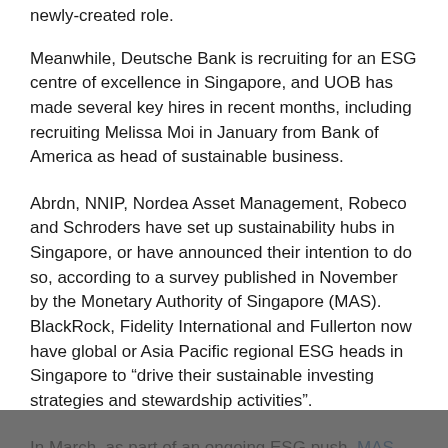newly-created role.
Meanwhile, Deutsche Bank is recruiting for an ESG centre of excellence in Singapore, and UOB has made several key hires in recent months, including recruiting Melissa Moi in January from Bank of America as head of sustainable business.
Abrdn, NNIP, Nordea Asset Management, Robeco and Schroders have set up sustainability hubs in Singapore, or have announced their intention to do so, according to a survey published in November by the Monetary Authority of Singapore (MAS). BlackRock, Fidelity International and Fullerton now have global or Asia Pacific regional ESG heads in Singapore to “drive their sustainable investing strategies and stewardship activities”.
In March, as part of an ongoing ESG push, MAS announced a partnership with CDP, an international non-profit organisation that operates environmental disclosure